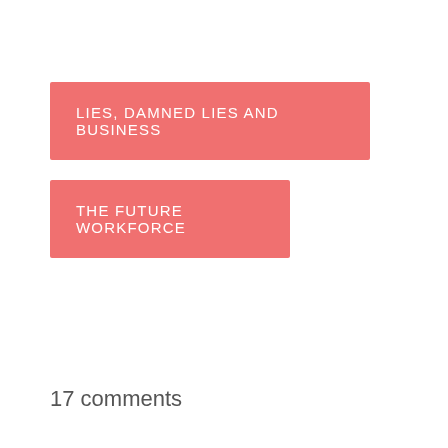LIES, DAMNED LIES AND BUSINESS
THE FUTURE WORKFORCE
17 comments